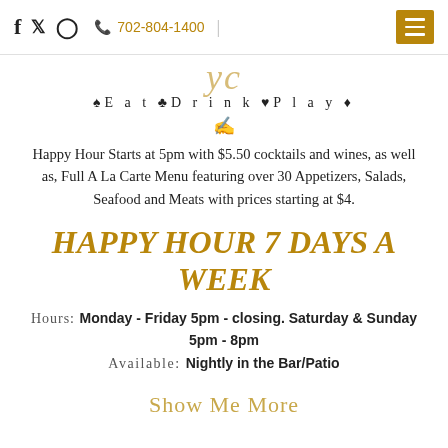f  twitter  camera-icon  702-804-1400  [menu button]
♠Eat♣Drink♥Play♦
Happy Hour Starts at 5pm with $5.50 cocktails and wines, as well as, Full A La Carte Menu featuring over 30 Appetizers, Salads, Seafood and Meats with prices starting at $4.
HAPPY HOUR 7 DAYS A WEEK
Hours: Monday - Friday 5pm - closing. Saturday & Sunday 5pm - 8pm
Available: Nightly in the Bar/Patio
Show Me More